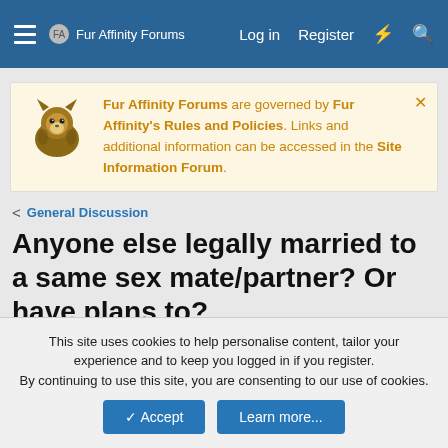Fur Affinity Forums — Log in  Register
Fur Affinity Forums are governed by Fur Affinity's Rules and Policies. Links and additional information can be accessed in the Site Information Forum.
< General Discussion
Anyone else legally married to a same sex mate/partner? Or have plans to?
Simo · Dec 19, 2014
This site uses cookies to help personalise content, tailor your experience and to keep you logged in if you register.
By continuing to use this site, you are consenting to our use of cookies.
✓ Accept   Learn more...